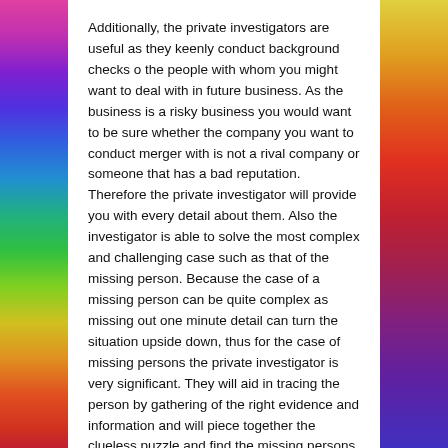Additionally, the private investigators are useful as they keenly conduct background checks o the people with whom you might want to deal with in future business. As the business is a risky business you would want to be sure whether the company you want to conduct merger with is not a rival company or someone that has a bad reputation. Therefore the private investigator will provide you with every detail about them. Also the investigator is able to solve the most complex and challenging case such as that of the missing person. Because the case of a missing person can be quite complex as missing out one minute detail can turn the situation upside down, thus for the case of missing persons the private investigator is very significant. They will aid in tracing the person by gathering of the right evidence and information and will piece together the clueless puzzle and find the missing persons.
Moreover, the importance of private investigator can be seen through the way they handle case as they work effectively and effectively and history and the